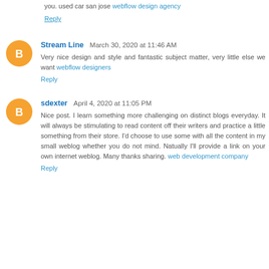you. used car san jose webflow design agency
Reply
Stream Line  March 30, 2020 at 11:46 AM
Very nice design and style and fantastic subject matter, very little else we want webflow designers
Reply
sdexter  April 4, 2020 at 11:05 PM
Nice post. I learn something more challenging on distinct blogs everyday. It will always be stimulating to read content off their writers and practice a little something from their store. I'd choose to use some with all the content in my small weblog whether you do not mind. Natually I'll provide a link on your own internet weblog. Many thanks sharing. web development company
Reply